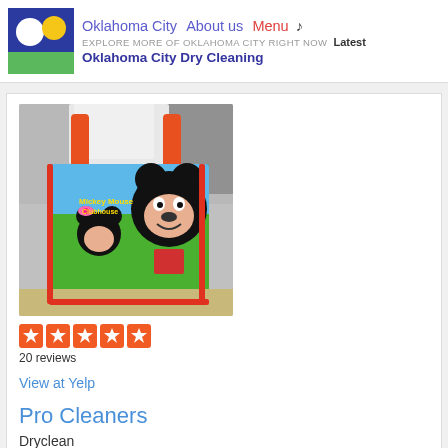Oklahoma City  About us  Menu ♪  EXPLORE MORE OF OKLAHOMA CITY RIGHT NOW  Latest  Oklahoma City Dry Cleaning
[Figure (photo): A Mickey Mouse Club House printed tote bag with orange handles, filled with dry cleaning wrapped in plastic, sitting on a surface with patterned wallpaper in background]
20 reviews
View at Yelp
Pro Cleaners
Dryclean